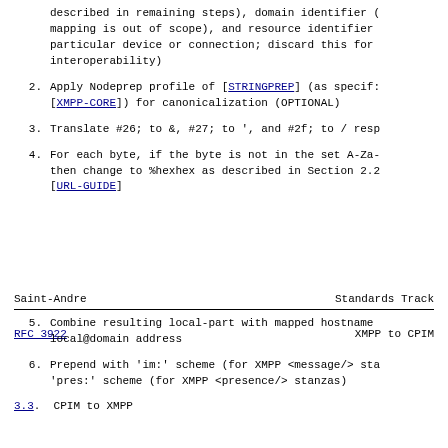described in remaining steps), domain identifier (mapping is out of scope), and resource identifier particular device or connection; discard this for interoperability)
2. Apply Nodeprep profile of [STRINGPREP] (as specified in [XMPP-CORE]) for canonicalization (OPTIONAL)
3. Translate #26; to &, #27; to ', and #2f; to / resp
4. For each byte, if the byte is not in the set A-Za-z then change to %hexhex as described in Section 2.1 [URL-GUIDE]
Saint-Andre                         Standards Track
RFC 3922                            XMPP to CPIM
5. Combine resulting local-part with mapped hostname local@domain address
6. Prepend with 'im:' scheme (for XMPP <message/> stanzas) 'pres:' scheme (for XMPP <presence/> stanzas)
3.3. CPIM to XMPP